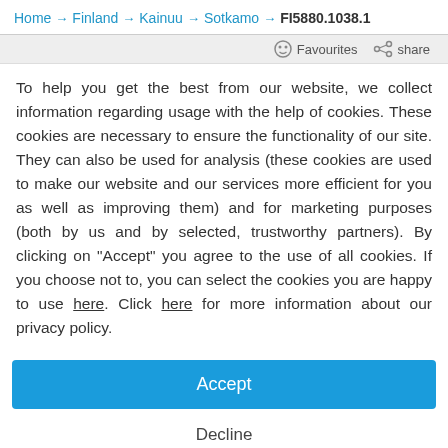Home → Finland → Kainuu → Sotkamo → FI5880.1038.1
To help you get the best from our website, we collect information regarding usage with the help of cookies. These cookies are necessary to ensure the functionality of our site. They can also be used for analysis (these cookies are used to make our website and our services more efficient for you as well as improving them) and for marketing purposes (both by us and by selected, trustworthy partners). By clicking on "Accept" you agree to the use of all cookies. If you choose not to, you can select the cookies you are happy to use here. Click here for more information about our privacy policy.
Accept
Decline
Configure